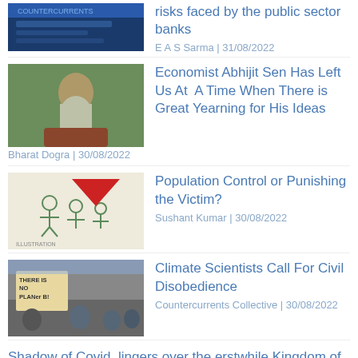[Figure (photo): Bank building thumbnail image]
risks faced by the public sector banks
E A S Sarma | 31/08/2022
[Figure (photo): Portrait of Abhijit Sen, elderly man with long white beard]
Economist Abhijit Sen Has Left Us At A Time When There is Great Yearning for His Ideas
Bharat Dogra | 30/08/2022
[Figure (illustration): Illustration showing people figures with a red triangle, population control themed]
Population Control or Punishing the Victim?
Sushant Kumar | 30/08/2022
[Figure (photo): Climate protest photo with sign reading THERE IS NO PLANet B]
Climate Scientists Call For Civil Disobedience
Countercurrents Collective | 30/08/2022
Shadow of Covid  lingers over the erstwhile Kingdom of Cooch Behar